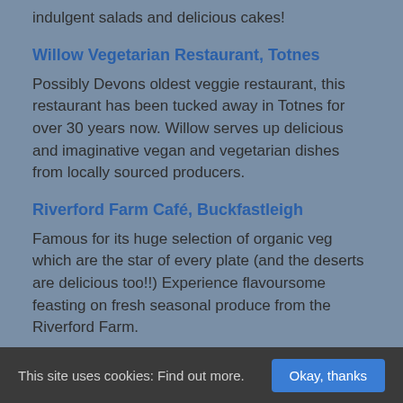indulgent salads and delicious cakes!
Willow Vegetarian Restaurant, Totnes
Possibly Devons oldest veggie restaurant, this restaurant has been tucked away in Totnes for over 30 years now. Willow serves up delicious and imaginative vegan and vegetarian dishes from locally sourced producers.
Riverford Farm Café, Buckfastleigh
Famous for its huge selection of organic veg which are the star of every plate (and the deserts are delicious too!!) Experience flavoursome feasting on fresh seasonal produce from the Riverford Farm.
Seeds II, Totnes
This site uses cookies: Find out more.